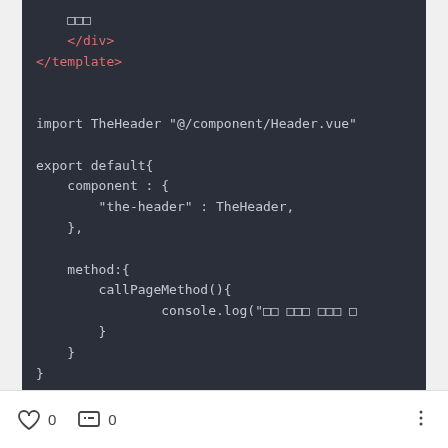[Figure (screenshot): Code editor screenshot showing Vue.js component code with dark background. Shows closing </div> and </template> tags, then import statement and export default block with component and method definitions.]
0  0